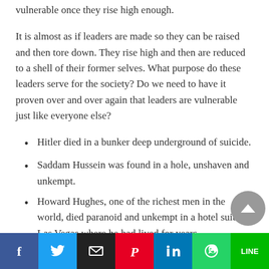vulnerable once they rise high enough.
It is almost as if leaders are made so they can be raised and then tore down. They rise high and then are reduced to a shell of their former selves. What purpose do these leaders serve for the society? Do we need to have it proven over and over again that leaders are vulnerable just like everyone else?
Hitler died in a bunker deep underground of suicide.
Saddam Hussein was found in a hole, unshaven and unkempt.
Howard Hughes, one of the richest men in the world, died paranoid and unkempt in a hotel suite in Las Vegas where he had lived for years.
Elvis, “the King”, died addicted to pills and obese on the toilet at the age of 42.
Social share bar: Facebook, Twitter, Email, Pinterest, LinkedIn, WhatsApp, Line